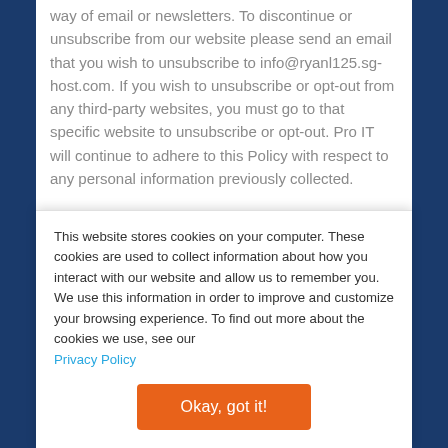way of email or newsletters. To discontinue or unsubscribe from our website please send an email that you wish to unsubscribe to info@ryanl125.sg-host.com. If you wish to unsubscribe or opt-out from any third-party websites, you must go to that specific website to unsubscribe or opt-out. Pro IT will continue to adhere to this Policy with respect to any personal information previously collected.
Links to Other Websites
Our website does contain links to affiliate and other
This website stores cookies on your computer. These cookies are used to collect information about how you interact with our website and allow us to remember you. We use this information in order to improve and customize your browsing experience. To find out more about the cookies we use, see our Privacy Policy
Okay, got it!